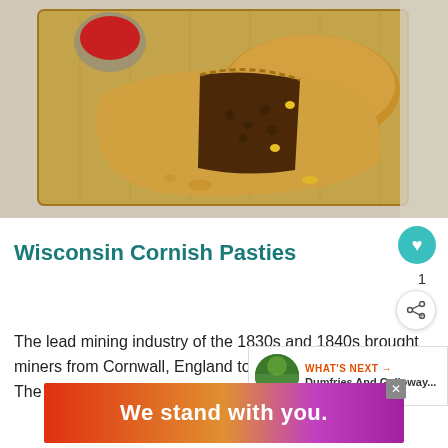[Figure (photo): Cornish pasties on a wooden cutting board with a small bowl of ketchup/dipping sauce; one pasty is cut open showing meat and vegetable filling; rustic food photography style]
Wisconsin Cornish Pasties
The lead mining industry of the 1830s and 1840s brought miners from Cornwall, England to southwestern Wisconsin. The miners brought Cornish traditions like the pa...
[Figure (infographic): WHAT'S NEXT overlay card showing thumbnail image of countryside and text 'Dumfries And Galloway...']
[Figure (infographic): Advertisement banner reading 'We stand with you.' with colorful gradient background (orange to purple)]